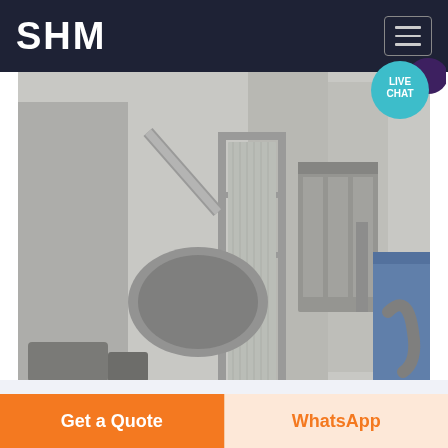SHM
[Figure (photo): Industrial facility showing large grinding/milling equipment, silos, dust collectors, and conveyor systems in a cement or mineral processing plant. The machinery is gray and dusty, with a blue storage container visible on the right side.]
Scientists stumbled across the
Get a Quote
WhatsApp